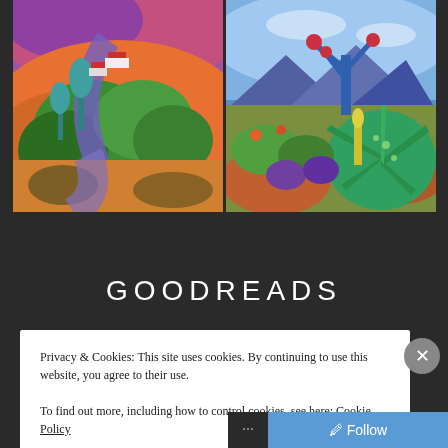[Figure (illustration): Two colorful expressionist landscape paintings side by side. Left painting shows rolling hills with red-roofed buildings, winding purple path, and vibrant green and orange foliage. Right painting shows a desert/garden scene with blue tree, large agave/succulent, mountains in background.]
GOODREADS
Privacy & Cookies: This site uses cookies. By continuing to use this website, you agree to their use. To find out more, including how to control cookies, see here: Cookie Policy
Close and accept
Follow